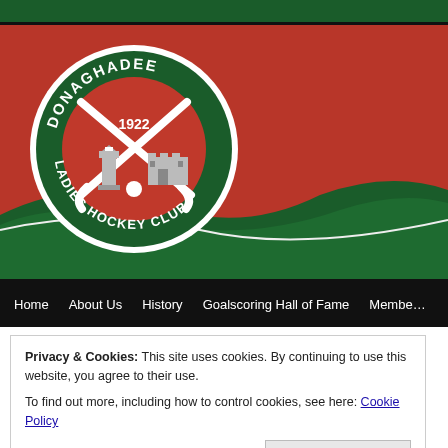[Figure (logo): Donaghadee Ladies Hockey Club website header banner with red background, green wave at bottom, and circular club logo on left showing crossed hockey sticks, lighthouse, castle, text 'DONAGHADEE 1922 LADIES HOCKEY CLUB']
Home | About Us | History | Goalscoring Hall of Fame | Members
Privacy & Cookies: This site uses cookies. By continuing to use this website, you agree to their use.
To find out more, including how to control cookies, see here: Cookie Policy
Close and accept
Posted on 22/02/2016 by Donaghadee LHC